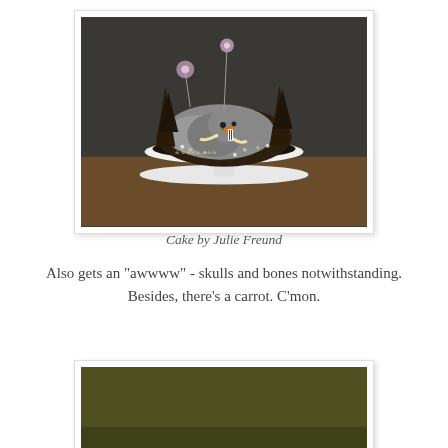[Figure (photo): A decorative cake on a white cake stand. The cake features a woolly mammoth figure made of frosting, surrounded by dark chocolate trees, small flower decorations on wires, and skull/bone sugar decorations around the base. The mammoth has an orange carrot in its mouth.]
Cake by Julie Freund
Also gets an "awwww" - skulls and bones notwithstanding. Besides, there's a carrot. C'mon.
[Figure (photo): Partial view of another cake or item with dark olive/army green coloring, partially visible at bottom of page.]